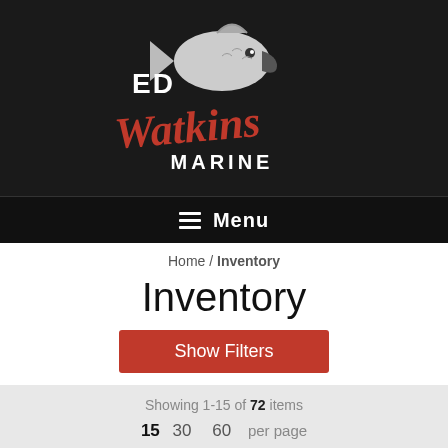[Figure (logo): Ed Watkins Marine logo with fish graphic, white text 'ED' and 'MARINE', red cursive 'Watkins' on dark background]
≡ Menu
Home / Inventory
Inventory
Show Filters
Showing 1-15 of 72 items
15  30  60  per page
Page: 1  2  3  ...  5  >
Sort By:
Newest   Price ($ to $$$)   Price ($$$ to $)   Title (A to...
Length (Asc)   Length (Desc)   Stock (Asc)   Stock (Desc)   Photo counter (Asc)